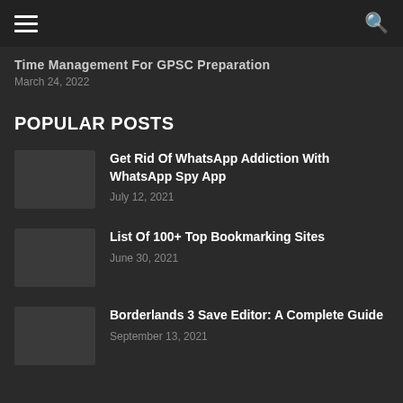≡ (menu) | 🔍 (search)
Time Management For GPSC Preparation
March 24, 2022
POPULAR POSTS
Get Rid Of WhatsApp Addiction With WhatsApp Spy App
July 12, 2021
List Of 100+ Top Bookmarking Sites
June 30, 2021
Borderlands 3 Save Editor: A Complete Guide
September 13, 2021